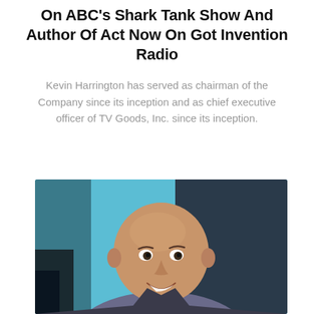On ABC's Shark Tank Show And Author Of Act Now On Got Invention Radio
Kevin Harrington has served as chairman of the Company since its inception and as chief executive officer of TV Goods, Inc. since its inception.
[Figure (photo): Portrait photo of a bald smiling man in a studio/office setting with blue and dark background elements]